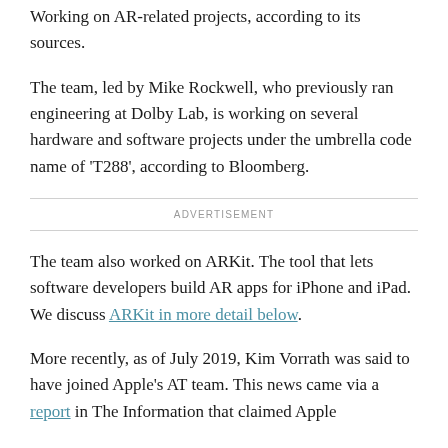Working on AR-related projects, according to its sources.
The team, led by Mike Rockwell, who previously ran engineering at Dolby Lab, is working on several hardware and software projects under the umbrella code name of 'T288', according to Bloomberg.
ADVERTISEMENT
The team also worked on ARKit. The tool that lets software developers build AR apps for iPhone and iPad. We discuss ARKit in more detail below.
More recently, as of July 2019, Kim Vorrath was said to have joined Apple's AT team. This news came via a report in The Information that claimed Apple